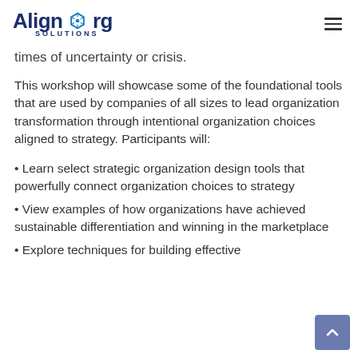AlignOrg Solutions
times of uncertainty or crisis.
This workshop will showcase some of the foundational tools that are used by companies of all sizes to lead organization transformation through intentional organization choices aligned to strategy. Participants will:
Learn select strategic organization design tools that powerfully connect organization choices to strategy
View examples of how organizations have achieved sustainable differentiation and winning in the marketplace
Explore techniques for building effective